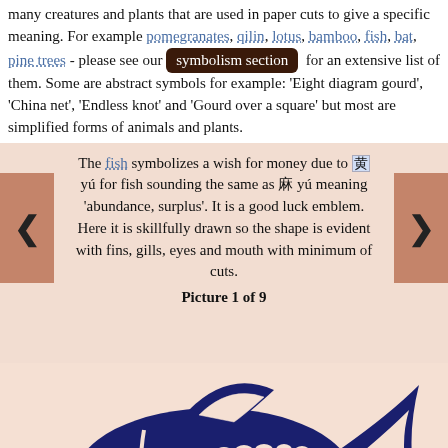many creatures and plants that are used in paper cuts to give a specific meaning. For example pomegranates, qilin, lotus, bamboo, fish, bat, pine trees - please see our symbolism section for an extensive list of them. Some are abstract symbols for example: 'Eight diagram gourd', 'China net', 'Endless knot' and 'Gourd over a square' but most are simplified forms of animals and plants.
The fish symbolizes a wish for money due to 魚 yú for fish sounding the same as 餘 yú meaning 'abundance, surplus'. It is a good luck emblem. Here it is skillfully drawn so the shape is evident with fins, gills, eyes and mouth with minimum of cuts.
Picture 1 of 9
[Figure (illustration): A dark navy blue paper-cut style fish illustration with decorative scale patterns, fins, gills, and eye visible, on a light peach background.]